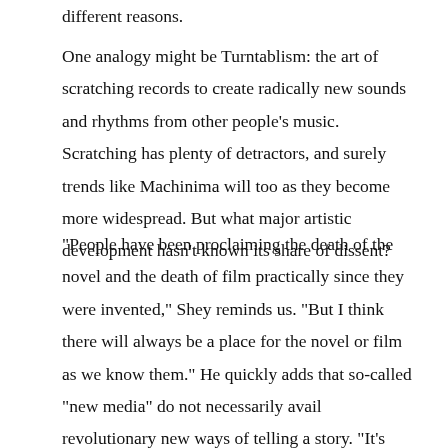different reasons.
One analogy might be Turntablism: the art of scratching records to create radically new sounds and rhythms from other people's music. Scratching has plenty of detractors, and surely trends like Machinima will too as they become more widespread. But what major artistic development hasn't known its share of dissent?
“People have been proclaiming the death of the novel and the death of film practically since they were invented,” Shey reminds us. “But I think there will always be a place for the novel or film as we know them.” He quickly adds that so-called “new media” do not necessarily avail revolutionary new ways of telling a story. “It’s nothing new for media to be intertextual or interactive,” he says. “A lot of the best novels require a great deal of user-participation, or user-interpretation. And a lot of people will say that novels exist somewhere between what’s on the page and the imagination of the person reading it. The same can be said for a good movie or